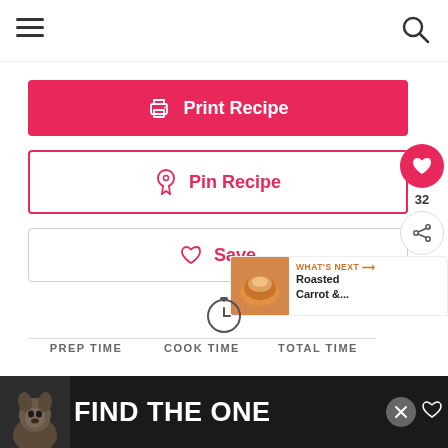Navigation bar with hamburger menu and search icon
[Figure (screenshot): Print Recipe button - red/pink filled button with printer icon and text 'Print Recipe' in white]
[Figure (screenshot): Pin Recipe button - white button with red border, Pinterest icon and text 'Pin Recipe' in red]
[Figure (screenshot): Save button - white button with gray border, heart icon and text 'Save' in pink]
[Figure (screenshot): Floating right panel with red heart button showing 32 likes and share button]
[Figure (screenshot): What's Next panel with soup image showing 'Roasted Carrot &...']
PREP TIME
COOK TIME
TOTAL TIME
[Figure (screenshot): Ad banner: dark background with dog image and 'FIND THE ONE' text with close X button]